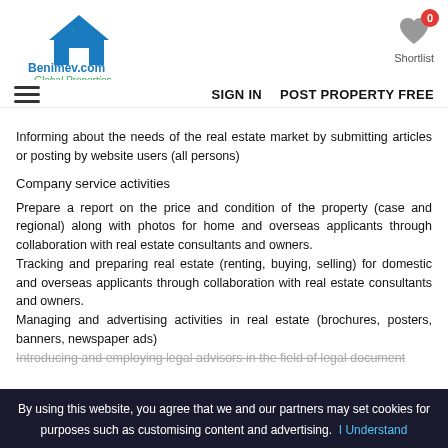[Figure (logo): Benimev.com Global Properties logo with house icon in blue and green]
[Figure (other): Shortlist icon with heart and badge showing 0]
SIGN IN   POST PROPERTY FREE
Informing about the needs of the real estate market by submitting articles or posting by website users (all persons)
Company service activities
Prepare a report on the price and condition of the property (case and regional) along with photos for home and overseas applicants through collaboration with real estate consultants and owners.
Tracking and preparing real estate (renting, buying, selling) for domestic and overseas applicants through collaboration with real estate consultants and owners.
Managing and advertising activities in real estate (brochures, posters, banners, newspaper ads)
Introducing and employing legal advisors in the field of legal document...
By using this website, you agree that we and our partners may set cookies for purposes such as customising content and advertising. I Understand